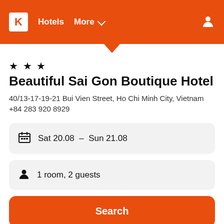K  Hotels  More
★ ★ ★
Beautiful Sai Gon Boutique Hotel
40/13-17-19-21 Bui Vien Street, Ho Chi Minh City, Vietnam
+84 283 920 8929
Sat 20.08 – Sun 21.08
1 room, 2 guests
Search
Provider
Nightly total